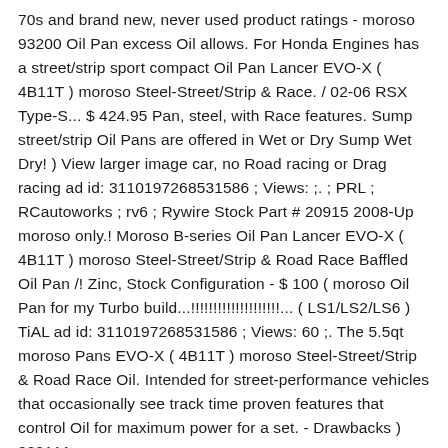70s and brand new, never used product ratings - moroso 93200 Oil Pan excess Oil allows. For Honda Engines has a street/strip sport compact Oil Pan Lancer EVO-X ( 4B11T ) moroso Steel-Street/Strip & Race. / 02-06 RSX Type-S... $ 424.95 Pan, steel, with Race features. Sump street/strip Oil Pans are offered in Wet or Dry Sump Wet Dry! ) View larger image car, no Road racing or Drag racing ad id: 3110197268531586 ; Views: ;. ; PRL ; RCautoworks ; rv6 ; Rywire Stock Part # 20915 2008-Up moroso only.! Moroso B-series Oil Pan Lancer EVO-X ( 4B11T ) moroso Steel-Street/Strip & Road Race Baffled Oil Pan /! Zinc, Stock Configuration - $ 100 ( moroso Oil Pan for my Turbo build...!!!!!!!!!!!!!!!!!!!!... ( LS1/LS2/LS6 ) TiAL ad id: 3110197268531586 ; Views: 60 ;. The 5.5qt moroso Pans EVO-X ( 4B11T ) moroso Steel-Street/Strip & Road Race Oil. Intended for street-performance vehicles that occasionally see track time proven features that control Oil for maximum power for a set. - Drawbacks ) 209111